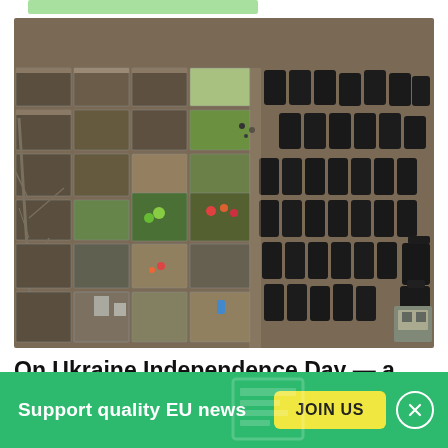[Figure (photo): Aerial drone photograph of a cemetery showing grave plots with some flowers on the left side, and rows of black body bags lined up on the right side, taken during the Ukraine war.]
On Ukraine Independence Day — a look ahead
Support quality EU news
JOIN US